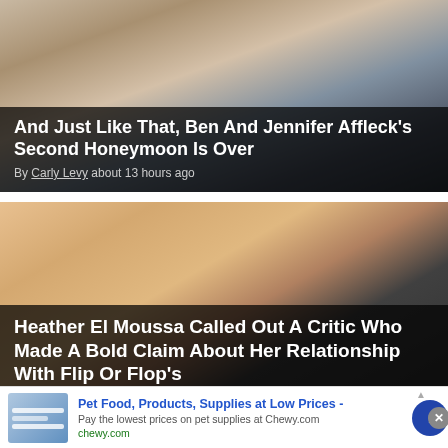[Figure (photo): Two people face-to-face in a romantic pose, woman with long blonde hair, man in dark jacket]
And Just Like That, Ben And Jennifer Affleck's Second Honeymoon Is Over
By Carly Levy about 13 hours ago
[Figure (photo): Blonde woman and dark-haired man posing together, with orange/red background]
Heather El Moussa Called Out A Critic Who Made A Bold Claim About Her Relationship With Flip Or Flop's
[Figure (other): Advertisement: Pet Food, Products, Supplies at Low Prices - Chewy.com]